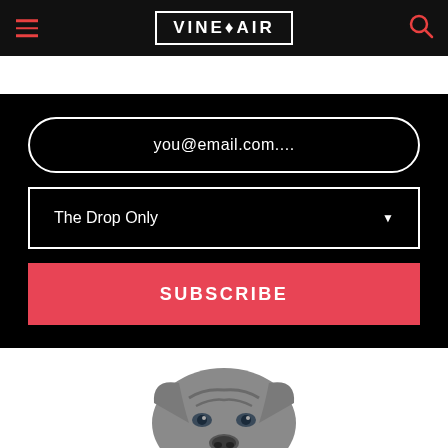VINEPAIR
you@email.com....
The Drop Only
SUBSCRIBE
[Figure (photo): Top portion of a dog's head, appearing to be a wrinkled/saggy-faced breed, on a white background]